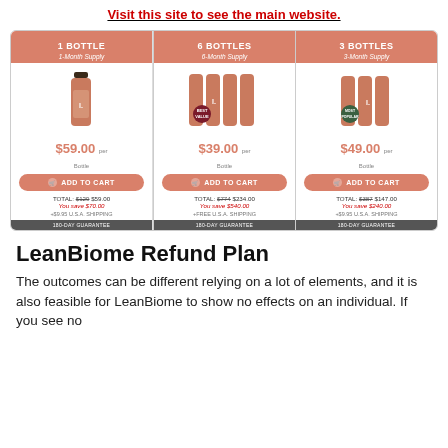Visit this site to see the main website.
[Figure (infographic): Three product pricing cards for LeanBiome supplement: 1 Bottle (1-Month Supply) $59.00/bottle, total $59.00 (save $70.00), +$9.95 shipping; 6 Bottles (6-Month Supply) $39.00/bottle, total $234.00 (save $540.00), free shipping, Best Value badge; 3 Bottles (3-Month Supply) $49.00/bottle, total $147.00 (save $240.00), +$9.95 shipping, Most Popular badge. All have Add to Cart buttons and 180-Day Guarantee bars.]
LeanBiome Refund Plan
The outcomes can be different relying on a lot of elements, and it is also feasible for LeanBiome to show no effects on an individual. If you see no